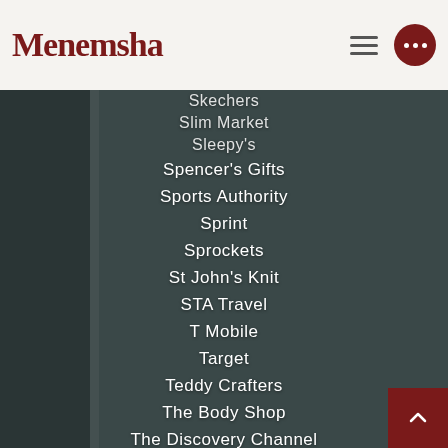Menemsha
Skechers
Slim Market
Sleepy's
Spencer's Gifts
Sports Authority
Sprint
Sprockets
St John's Knit
STA Travel
T Mobile
Target
Teddy Crafters
The Body Shop
The Discovery Channel
The Gap Inc
The North Face
The Vitamin Shop
Tiny Rebellion